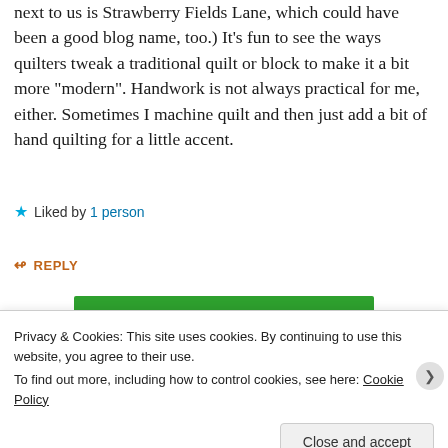next to us is Strawberry Fields Lane, which could have been a good blog name, too.) It’s fun to see the ways quilters tweak a traditional quilt or block to make it a bit more “modern”. Handwork is not always practical for me, either. Sometimes I machine quilt and then just add a bit of hand quilting for a little accent.
★ Liked by 1 person
↳ REPLY
[Figure (infographic): Green advertisement banner with white bold text 'You run your business.' and a white button labeled 'Secure Your Site' in green text.]
Privacy & Cookies: This site uses cookies. By continuing to use this website, you agree to their use.
To find out more, including how to control cookies, see here: Cookie Policy
Close and accept